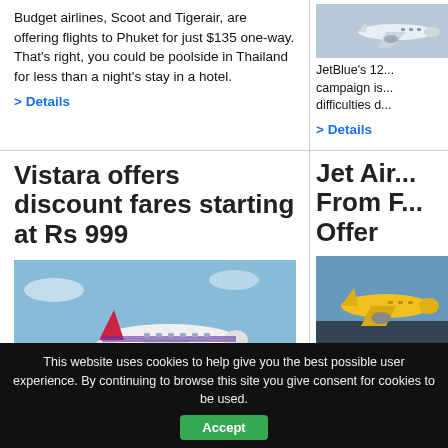Budget airlines, Scoot and Tigerair, are offering flights to Phuket for just $135 one-way. That's right, you could be poolside in Thailand for less than a night's stay in a hotel.
> Details
[Figure (photo): Airbus A320 aircraft photo in right column]
JetBlue's 12... campaign is... difficulties d...
> Details
Vistara offers discount fares starting at Rs 999
Jet Air... From F... Offer
[Figure (photo): Vistara airline aircraft taking off, white plane with red/orange livery against blue sky]
[Figure (photo): Jet Airways aircraft photo, yellow aircraft]
This website uses cookies to help give you the best possible user experience. By continuing to browse this site you give consent for cookies to be used.